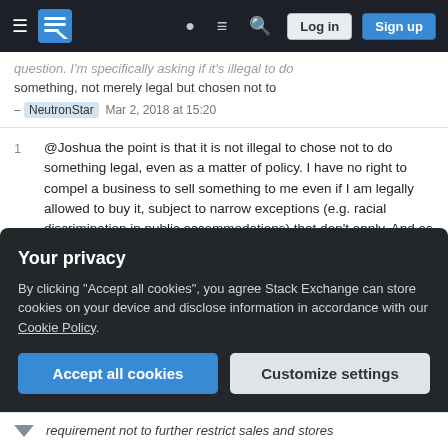Stack Exchange navigation bar with Log in and Sign up buttons
question. I'm specifically asking if it's illegal to do something, not merely legal but chosen not to – NeutronStar Mar 2, 2018 at 15:20
1 @Joshua the point is that it is not illegal to chose not to do something legal, even as a matter of policy. I have no right to compel a business to sell something to me even if I am legally allowed to buy it, subject to narrow exceptions (e.g. racial discrimination in public accommodations) that don't apply. And as a matter of legal theory, those statutes were enacted under the interstate commerce clause, not the enforcement clause of any constitutional amendments. – ohwilleke Mar 3, 2018 at 0:59
Your privacy
By clicking "Accept all cookies", you agree Stack Exchange can store cookies on your device and disclose information in accordance with our Cookie Policy.
Accept all cookies  Customize settings
requirement not to further restrict sales and stores